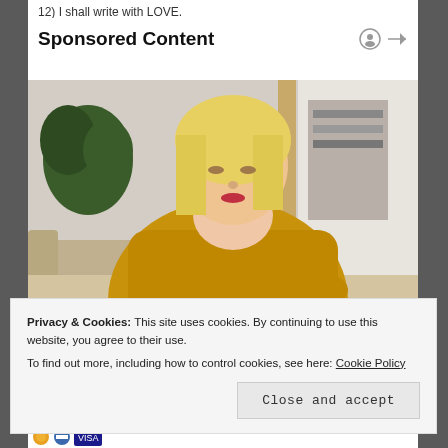12) I shall write with LOVE.
Sponsored Content
[Figure (photo): Woman in yellow/mustard knit sweater with blonde hair looking down at her arm/wrist, sitting on a couch, indoor setting with plants in background]
Privacy & Cookies: This site uses cookies. By continuing to use this website, you agree to their use.
To find out more, including how to control cookies, see here: Cookie Policy
Close and accept